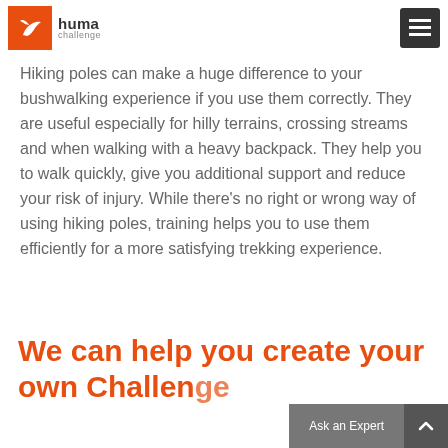Huma Challenge – navigation header
Hiking poles can make a huge difference to your bushwalking experience if you use them correctly. They are useful especially for hilly terrains, crossing streams and when walking with a heavy backpack. They help you to walk quickly, give you additional support and reduce your risk of injury. While there's no right or wrong way of using hiking poles, training helps you to use them efficiently for a more satisfying trekking experience.
We can help you create your own Challenge